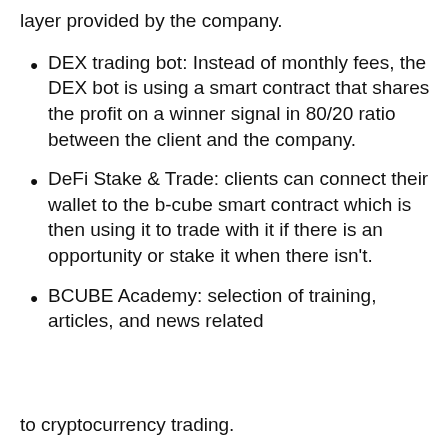layer provided by the company.
DEX trading bot: Instead of monthly fees, the DEX bot is using a smart contract that shares the profit on a winner signal in 80/20 ratio between the client and the company.
DeFi Stake & Trade: clients can connect their wallet to the b-cube smart contract which is then using it to trade with it if there is an opportunity or stake it when there isn't.
BCUBE Academy: selection of training, articles, and news related
to cryptocurrency trading.